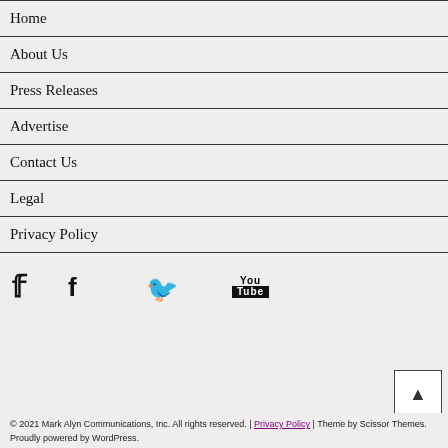Home
About Us
Press Releases
Advertise
Contact Us
Legal
Privacy Policy
[Figure (other): Social media icons: Facebook, Twitter, YouTube]
© 2021 Mark Alyn Communications, Inc. All rights reserved. | Privacy Policy | Theme by Scissor Themes. Proudly powered by WordPress.